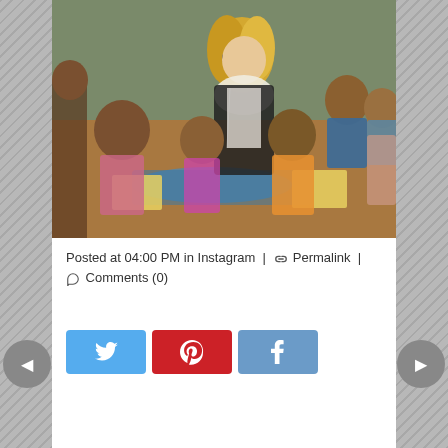[Figure (photo): A blonde woman wearing sunglasses and a white floral scarf sitting on a floor surrounded by children in what appears to be a community or school setting.]
Posted at 04:00 PM in Instagram | 🔗 Permalink | 💬 Comments (0)
[Figure (infographic): Social sharing buttons: Twitter (blue), Pinterest (red), Facebook (blue)]